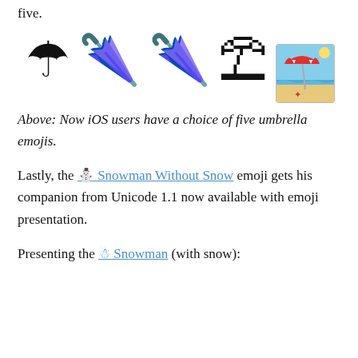five.
[Figure (illustration): Five umbrella emojis in a row: purple umbrella, umbrella with rain drops, closed umbrella (pink/red), beach umbrella on sand, and beach with umbrella scene in a bordered image frame.]
Above: Now iOS users have a choice of five umbrella emojis.
Lastly, the ⛄ Snowman Without Snow emoji gets his companion from Unicode 1.1 now available with emoji presentation.
Presenting the ☃ Snowman (with snow):